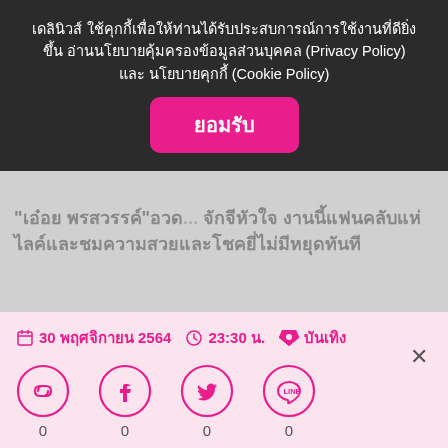เดลินิวส์ ใช้คุกกี้เพื่อให้ท่านได้รับประสบการณ์การใช้งานที่ดียิ่งขึ้น อ่านนโยบายคุ้มครองข้อมูลส่วนบุคคล (Privacy Policy) และ นโยบายคุกกี้ (Cookie Policy)
ยอมรับ
"เอ๋อย พรสวรรค์"อวด... จักจีหัวใจ งานนี้แฟนคลับแห่ไลค์และชมความสวยและโชคยี่ไป่มีหยุดทันที
30 พฤศจิกายน 2564  23:30 น.  บันเทิง
0
0
0
0